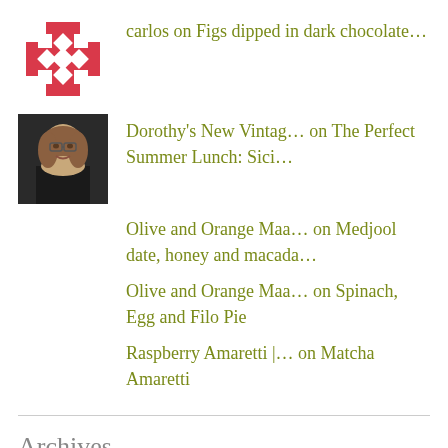carlos on Figs dipped in dark chocolate…
Dorothy's New Vintag… on The Perfect Summer Lunch: Sici…
Olive and Orange Maa… on Medjool date, honey and macada…
Olive and Orange Maa… on Spinach, Egg and Filo Pie
Raspberry Amaretti |… on Matcha Amaretti
Archives